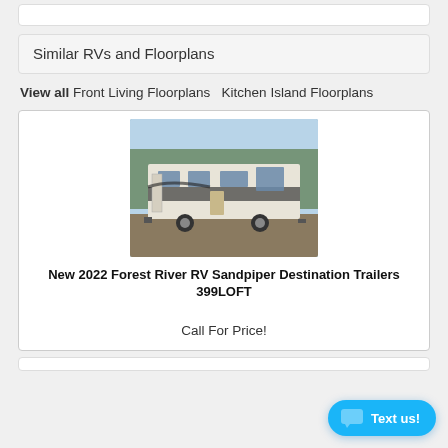Similar RVs and Floorplans
View all Front Living Floorplans  Kitchen Island Floorplans
[Figure (photo): Photo of a 2022 Forest River RV Sandpiper Destination Trailer parked in a lot with trees in the background]
New 2022 Forest River RV Sandpiper Destination Trailers 399LOFT
Call For Price!